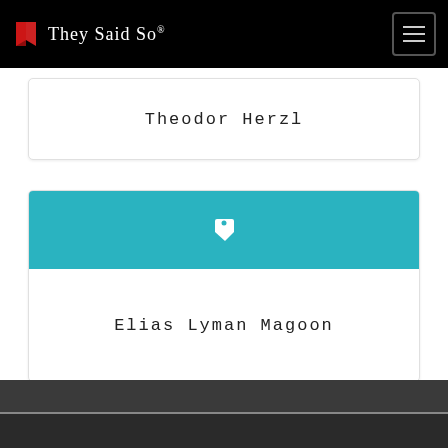They Said So®
Theodor Herzl
[Figure (other): Teal banner card with a white price tag icon]
Elias Lyman Magoon